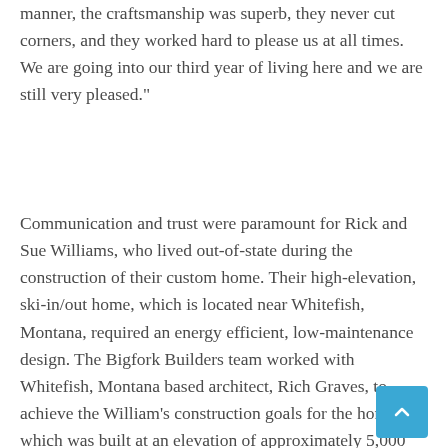manner, the craftsmanship was superb, they never cut corners, and they worked hard to please us at all times. We are going into our third year of living here and we are still very pleased."
Communication and trust were paramount for Rick and Sue Williams, who lived out-of-state during the construction of their custom home. Their high-elevation, ski-in/out home, which is located near Whitefish, Montana, required an energy efficient, low-maintenance design. The Bigfork Builders team worked with Whitefish, Montana based architect, Rich Graves, to achieve the William’s construction goals for the home, which was built at an elevation of approximately 5,000 feet above sea level. The systems for selection schedules, timelines, job reports, progress photos, walk-through meetings,